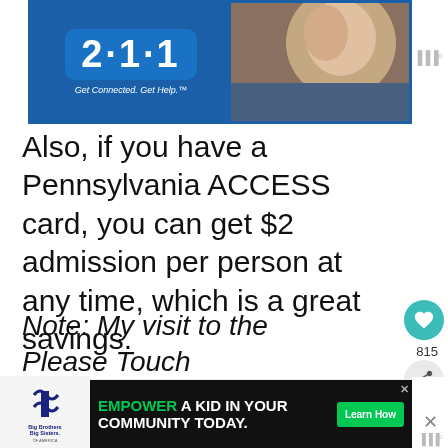[Figure (photo): 211 Get Connected. Get Help advertisement banner with an elderly person's face on the right side]
Also, if you have a Pennsylvania ACCESS card, you can get $2 admission per person at any time, which is a great savings.
Note: My visit to the Please Touch Museum was hosted by Visit Philly. However, the opinions expres[sed are] my own
[Figure (photo): What's Next thumbnail showing The Museum of Illusions]
[Figure (photo): Bottom advertisement: Big Brothers Big Sisters logo with EMPOWER A KID IN YOUR COMMUNITY TODAY. Learn How button]